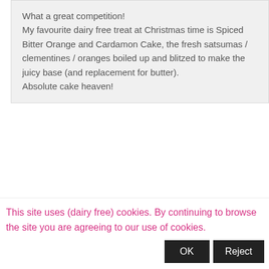What a great competition!
My favourite dairy free treat at Christmas time is Spiced Bitter Orange and Cardamon Cake, the fresh satsumas / clementines / oranges boiled up and blitzed to make the juicy base (and replacement for butter).
Absolute cake heaven!
Kris McGowan | December 6, 2016  Reply
Love the Raw Chocolate Mulberries, anytime :)
Amy Ripley | December 6, 2016  Reply
This site uses (dairy free) cookies. By continuing to browse the site you are agreeing to our use of cookies.